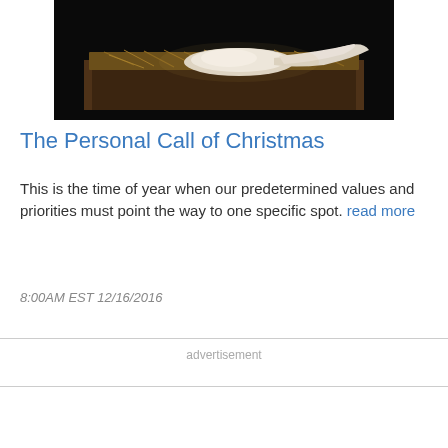[Figure (photo): A wooden manger/crib filled with hay and white cloth, photographed against a dark background, suggesting a nativity scene.]
The Personal Call of Christmas
This is the time of year when our predetermined values and priorities must point the way to one specific spot. read more
8:00AM EST 12/16/2016
advertisement